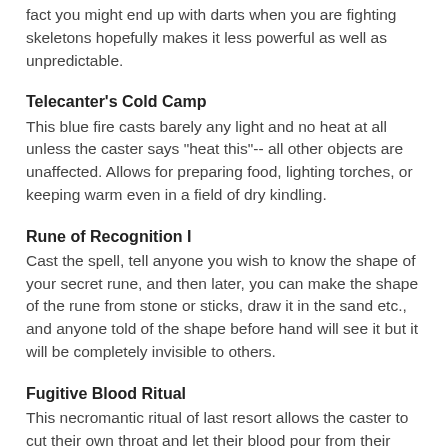fact you might end up with darts when you are fighting skeletons hopefully makes it less powerful as well as unpredictable.
Telecanter's Cold Camp
This blue fire casts barely any light and no heat at all unless the caster says "heat this"-- all other objects are unaffected. Allows for preparing food, lighting torches, or keeping warm even in a field of dry kindling.
Rune of Recognition I
Cast the spell, tell anyone you wish to know the shape of your secret rune, and then later, you can make the shape of the rune from stone or sticks, draw it in the sand etc., and anyone told of the shape before hand will see it but it will be completely invisible to others.
Fugitive Blood Ritual
This necromantic ritual of last resort allows the caster to cut their own throat and let their blood pour from their body and escape.  The blood flows across the ground, through cracks, and hides until a later time to come back and re-invest the